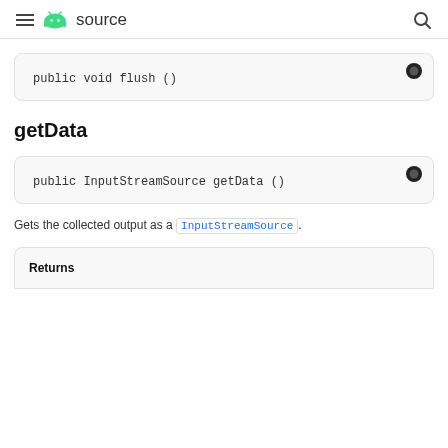≡ Android source
public void flush ()
getData
public InputStreamSource getData ()
Gets the collected output as a InputStreamSource.
| Returns |
| --- |